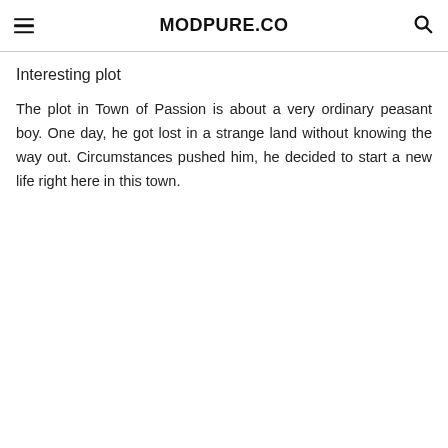MODPURE.CO
Interesting plot
The plot in Town of Passion is about a very ordinary peasant boy. One day, he got lost in a strange land without knowing the way out. Circumstances pushed him, he decided to start a new life right here in this town.